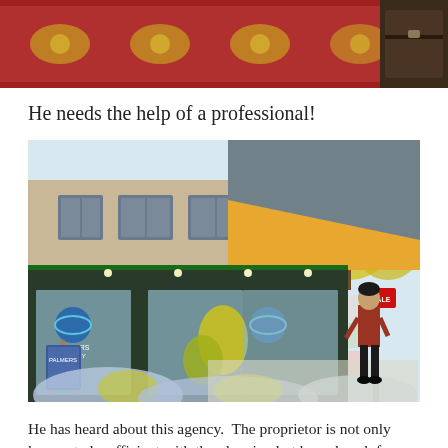[Figure (screenshot): Top portion of a Sims-style video game screenshot showing a decorative rug with red and gold floral pattern on the floor, and a dark wooden chest or furniture piece in the upper right corner.]
He needs the help of a professional!
[Figure (screenshot): A Sims-style video game screenshot showing the exterior of a travel agency storefront. The building has a green awning, large glass windows displaying travel agency logos (globe icons), an A-frame sandwich board sign, yellow flowering bushes, and a male Sim character in a red shirt and black pants walking toward the entrance. A red 'For Sale' or agency sign is visible on the right side.]
He has heard about this agency.  The proprietor is not only known to be efficient with the planning but has a knack for knowing the “whats,  wheres,  and